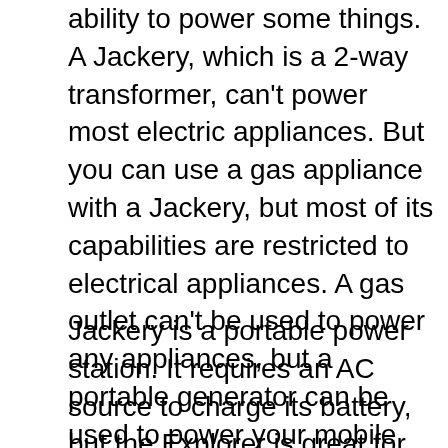ability to power some things. A Jackery, which is a 2-way transformer, can't power most electric appliances. But you can use a gas appliance with a Jackery, but most of its capabilities are restricted to electrical appliances. A gas outlet can't be used to power any appliances, but a portable generator can be used to power your mobile phone.
Jackery is a portable power station. It requires an AC source to charge its battery, but the Explorer is great for charging electronics on-the-go. It also features a 12-volt car outlet. This allows you to charge other devices while you are out and about. It is an excellent tool for camping. It will allow you to stay connected to the internet.